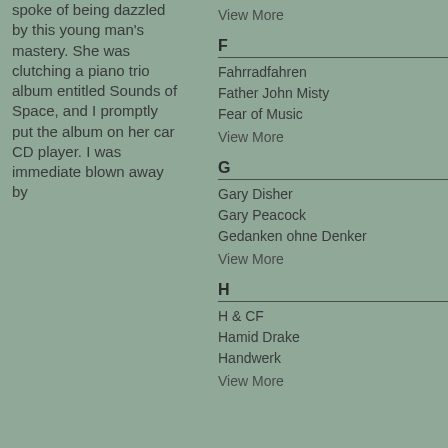spoke of being dazzled by this young man's mastery. She was clutching a piano trio album entitled Sounds of Space, and I promptly put the album on her car CD player. I was immediate blown away by
View More
F
Fahrradfahren
Father John Misty
Fear of Music
View More
G
Gary Disher
Gary Peacock
Gedanken ohne Denker
View More
H
H & CF
Hamid Drake
Handwerk
View More